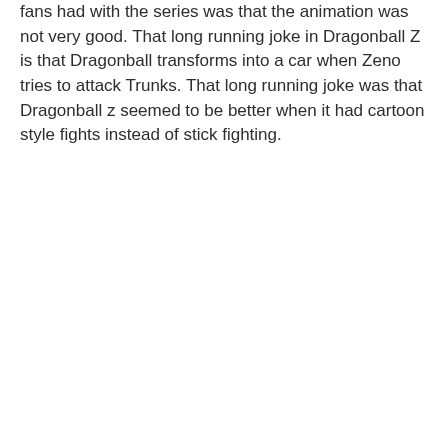fans had with the series was that the animation was not very good. That long running joke in Dragonball Z is that Dragonball transforms into a car when Zeno tries to attack Trunks. That long running joke was that Dragonball z seemed to be better when it had cartoon style fights instead of stick fighting.